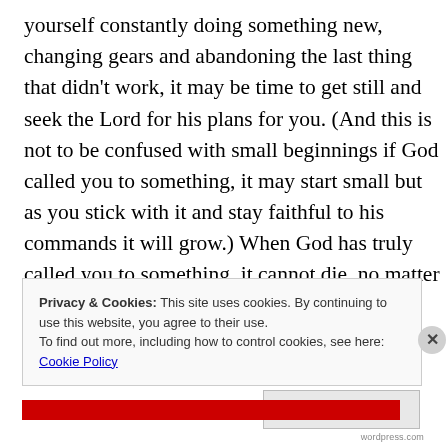yourself constantly doing something new, changing gears and abandoning the last thing that didn't work, it may be time to get still and seek the Lord for his plans for you. (And this is not to be confused with small beginnings if God called you to something, it may start small but as you stick with it and stay faithful to his commands it will grow.) When God has truly called you to something, it cannot die, no matter how it struggles you cannot
Privacy & Cookies: This site uses cookies. By continuing to use this website, you agree to their use.
To find out more, including how to control cookies, see here: Cookie Policy
Close and accept